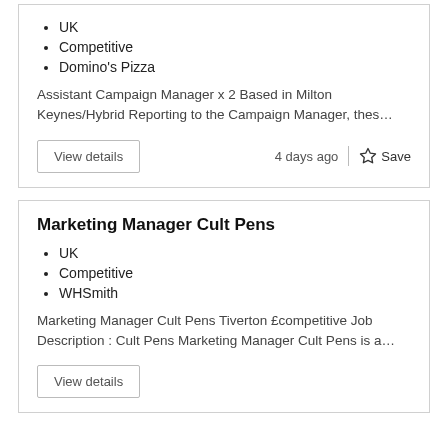UK
Competitive
Domino's Pizza
Assistant Campaign Manager x 2 Based in Milton Keynes/Hybrid Reporting to the Campaign Manager, thes…
View details
4 days ago
Save
Marketing Manager Cult Pens
UK
Competitive
WHSmith
Marketing Manager Cult Pens Tiverton £competitive Job Description : Cult Pens Marketing Manager Cult Pens is a…